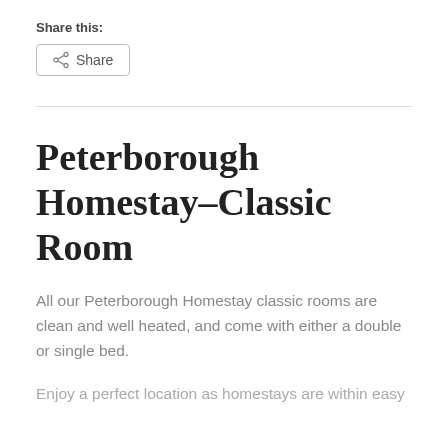Share this:
[Figure (other): Share button with share icon and label]
Peterborough Homestay–Classic Room
All our Peterborough Homestay classic rooms are clean and well heated, and come with either a double or single bed.
Enjoy a perfect location as homestays are within easy